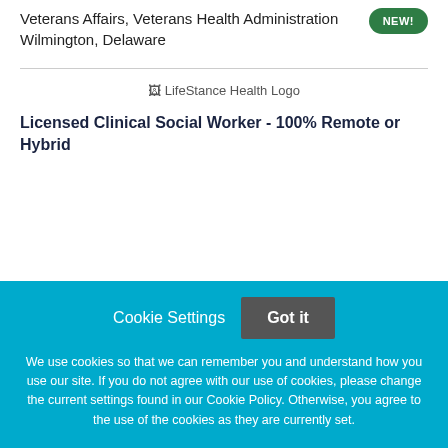Veterans Affairs, Veterans Health Administration
Wilmington, Delaware
[Figure (logo): LifeStance Health Logo placeholder image]
Licensed Clinical Social Worker - 100% Remote or Hybrid
Cookie Settings   Got it

We use cookies so that we can remember you and understand how you use our site. If you do not agree with our use of cookies, please change the current settings found in our Cookie Policy. Otherwise, you agree to the use of the cookies as they are currently set.